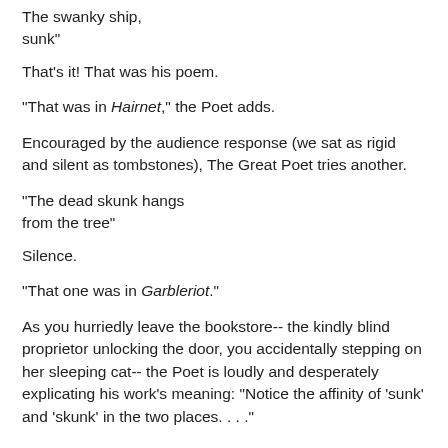The swanky ship,
sunk"
That's it! That was his poem.
"That was in Hairnet," the Poet adds.
Encouraged by the audience response (we sat as rigid and silent as tombstones), The Great Poet tries another.
"The dead skunk hangs
from the tree"
Silence.
"That one was in Garbleriot."
As you hurriedly leave the bookstore-- the kindly blind proprietor unlocking the door, you accidentally stepping on her sleeping cat-- the Poet is loudly and desperately explicating his work's meaning: "Notice the affinity of 'sunk' and 'skunk' in the two places. . . ."